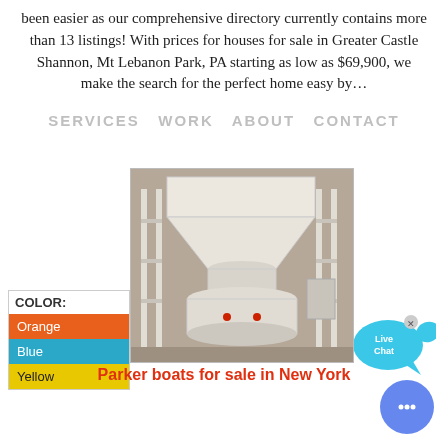been easier as our comprehensive directory currently contains more than 13 listings! With prices for houses for sale in Greater Castle Shannon, Mt Lebanon Park, PA starting as low as $69,900, we make the search for the perfect home easy by…
SERVICES  WORK  ABOUT  CONTACT
[Figure (screenshot): Live Chat bubble with fish icon and close button in upper right area]
[Figure (photo): Industrial white hopper/funnel machine on scaffolding in a warehouse setting]
| COLOR: |
| --- |
| Orange |
| Blue |
| Yellow |
Parker boats for sale in New York
[Figure (other): Blue circular chat button with three dots]